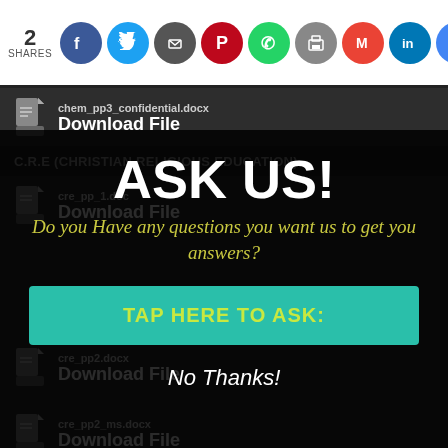2 SHARES
[Figure (infographic): Social sharing icons: Facebook, Twitter, Email, Pinterest, WhatsApp, Print, Gmail, LinkedIn, Google]
chem_pp3_confidential.docx — Download File
C.R.E (CHRISTIAN RELIGIOUS EDUCATION)
cre_pp_1.doc — Download File
ASK US!
Do you Have any questions you want us to get you answers?
TAP HERE TO ASK:
No Thanks!
cre_pp2.docx — Download File
cre_pp2_ms.docx — Download File